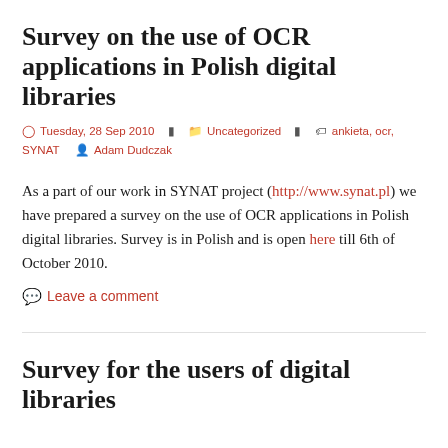Survey on the use of OCR applications in Polish digital libraries
Tuesday, 28 Sep 2010  Uncategorized  ankieta, ocr, SYNAT  Adam Dudczak
As a part of our work in SYNAT project (http://www.synat.pl) we have prepared a survey on the use of OCR applications in Polish digital libraries. Survey is in Polish and is open here till 6th of October 2010.
Leave a comment
Survey for the users of digital libraries